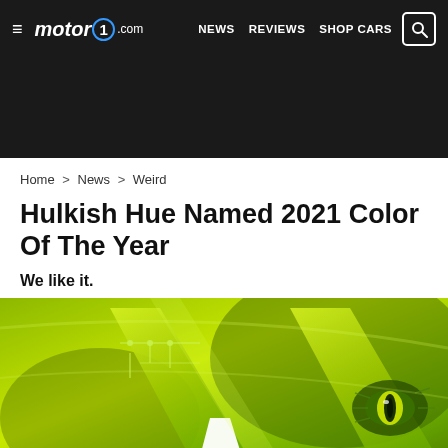motor1.com | NEWS  REVIEWS  SHOP CARS
Home > News > Weird
Hulkish Hue Named 2021 Color Of The Year
We like it.
[Figure (photo): A vivid lime-green graphic resembling a large letter or shape, with circuit board patterns, a crocodile eye, and green metallic textures — representing the 2021 Color of the Year.]